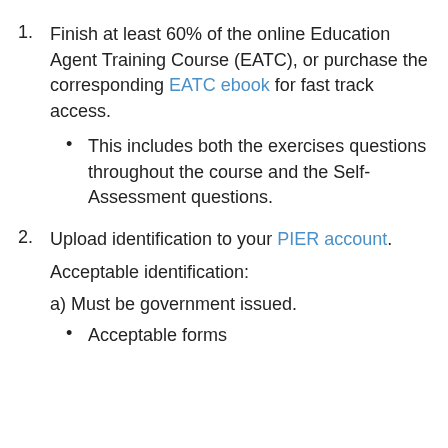1. Finish at least 60% of the online Education Agent Training Course (EATC), or purchase the corresponding EATC ebook for fast track access.
This includes both the exercises questions throughout the course and the Self-Assessment questions.
2. Upload identification to your PIER account.
Acceptable identification:
a) Must be government issued.
• Acceptable forms